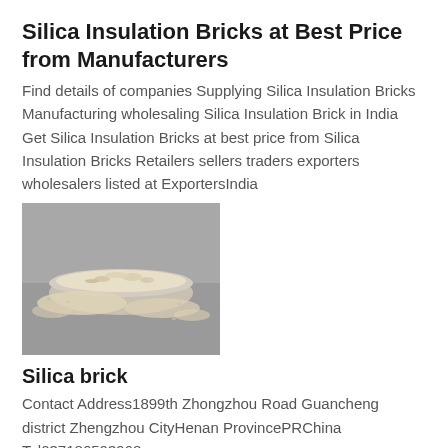Silica Insulation Bricks at Best Price from Manufacturers
Find details of companies Supplying Silica Insulation Bricks Manufacturing wholesaling Silica Insulation Brick in India Get Silica Insulation Bricks at best price from Silica Insulation Bricks Retailers sellers traders exporters wholesalers listed at ExportersIndia
[Figure (photo): A glass bowl filled with silica/grain material spilling onto a gray surface]
Silica brick
Contact Address1899th Zhongzhou Road Guancheng district Zhengzhou CityHenan ProvincePRChina Tel037186503968